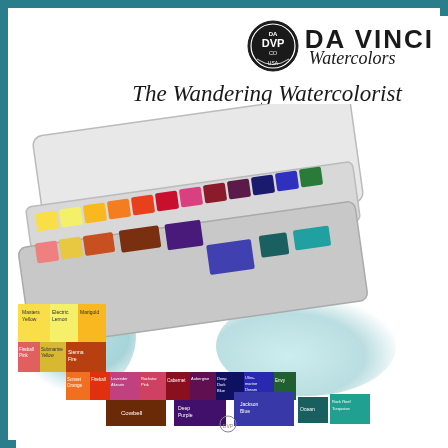[Figure (logo): Da Vinci Watercolors circular badge logo with DVP CO USA text and the brand name 'DA VINCI Watercolors' in bold uppercase with script watercolors text]
The Wandering Watercolorist by Paul Jackson
[Figure (photo): A watercolor paint set palette (The Wandering Watercolorist by Paul Jackson) open and showing multiple pans of vivid watercolor paints in yellow, orange, red, pink, purple, blue, green colors with labeled swatches showing color names: Masters Yellow, Electric Lemon, Marigold, Sunset Orange, Fireball, Alizarin, Lavender, Rockstar Pink, Cabernet, Aubergine, Deep Dark Blue, Ultramarine Dream, Envy, Jackson Blue, Ocean, Rock Reef Turquoise, Sienna Fire, Cowbell, Deep Purple, Submarine Yellow, Fireball Pink]